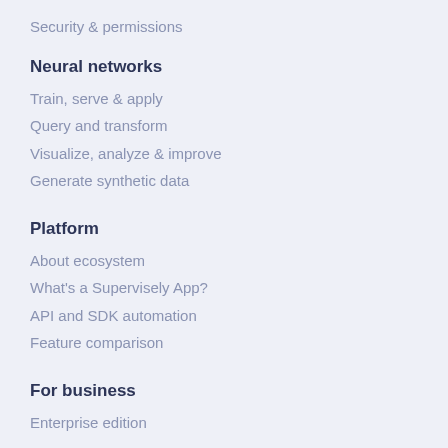Security & permissions
Neural networks
Train, serve & apply
Query and transform
Visualize, analyze & improve
Generate synthetic data
Platform
About ecosystem
What's a Supervisely App?
API and SDK automation
Feature comparison
For business
Enterprise edition